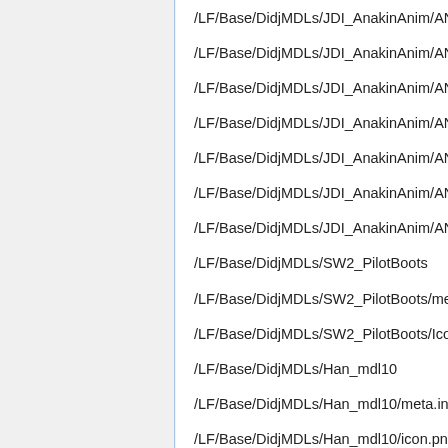/LF/Base/DidjMDLs/JDI_AnakinAnim/ANAK
/LF/Base/DidjMDLs/JDI_AnakinAnim/ANAK
/LF/Base/DidjMDLs/JDI_AnakinAnim/ANAK
/LF/Base/DidjMDLs/JDI_AnakinAnim/ANAK
/LF/Base/DidjMDLs/JDI_AnakinAnim/ANAK
/LF/Base/DidjMDLs/JDI_AnakinAnim/ANAK
/LF/Base/DidjMDLs/JDI_AnakinAnim/ANAK
/LF/Base/DidjMDLs/SW2_PilotBoots
/LF/Base/DidjMDLs/SW2_PilotBoots/meta.in
/LF/Base/DidjMDLs/SW2_PilotBoots/IconNo
/LF/Base/DidjMDLs/Han_mdl10
/LF/Base/DidjMDLs/Han_mdl10/meta.inf
/LF/Base/DidjMDLs/Han_mdl10/icon.png
/LF/Base/DidjMDLs/Han_mdl11
/LF/Base/DidjMDLs/Han_mdl11/meta.inf